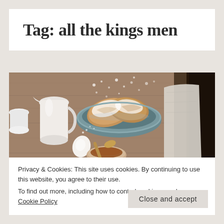Tag: all the kings men
[Figure (photo): Overhead view of pastries dusted with powdered sugar in a blue bowl on a wooden table, with a cream pitcher, egg, and small bowl of spice with wooden spoon]
Privacy & Cookies: This site uses cookies. By continuing to use this website, you agree to their use.
To find out more, including how to control cookies, see here: Cookie Policy
Close and accept